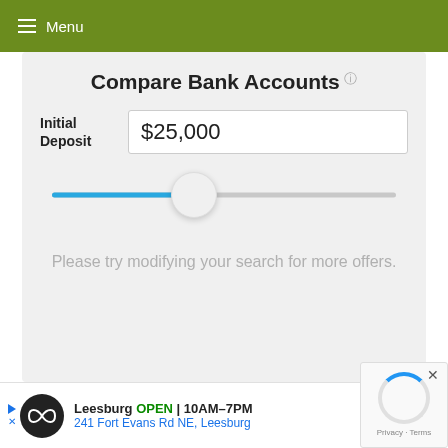≡ Menu
Compare Bank Accounts ℹ
Initial Deposit  $25,000
[Figure (other): Horizontal range slider with blue fill from left to approximately 38% position, with a large circular thumb handle. Used to select initial deposit amount.]
Please try modifying your search for more offers.
Leesburg  OPEN  10AM–7PM  241 Fort Evans Rd NE, Leesburg